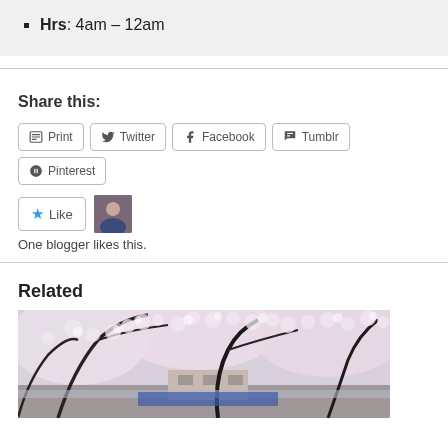Hrs: 4am – 12am
Share this:
Print  Twitter  Facebook  Tumblr  Pinterest
Like  One blogger likes this.
Related
[Figure (photo): Cherry blossom trees with white/pink blooms arching over a walkway or canal, dark branches visible, urban scene below]